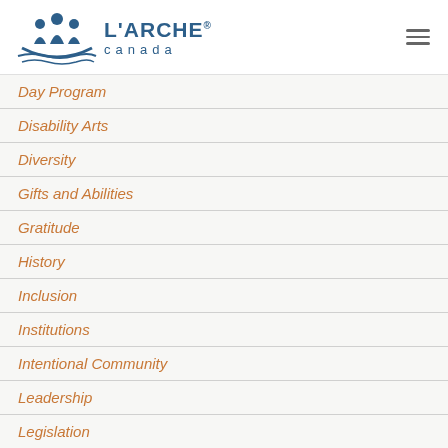[Figure (logo): L'Arche Canada logo with stylized boat and people icon in navy blue, and text 'L'ARCHE canada' in navy blue]
Day Program
Disability Arts
Diversity
Gifts and Abilities
Gratitude
History
Inclusion
Institutions
Intentional Community
Leadership
Legislation
Life-sharing
Listening
Mission